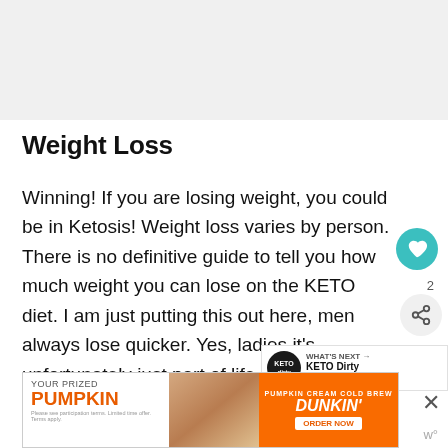[Figure (other): Gray image/advertisement placeholder at the top of the page]
Weight Loss
Winning! If you are losing weight, you could be in Ketosis! Weight loss varies by person. There is no definitive guide to tell you how much weight you can lose on the KETO diet. I am just putting this out here, men always lose quicker. Yes, ladies it's unfortunately just part of life. So that said, I do...loss
[Figure (other): Dunkin' Pumpkin Cream Cold Brew advertisement banner at the bottom]
[Figure (other): KETO Dirty WHAT'S NEXT / Sitemap overlay widget on right side]